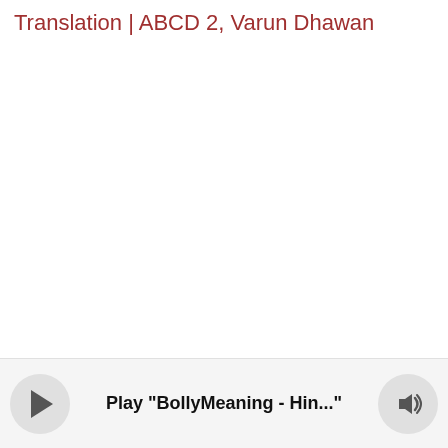Translation | ABCD 2, Varun Dhawan
[Figure (other): Large white/blank main content area for a video or media player]
Play "BollyMeaning - Hin..."